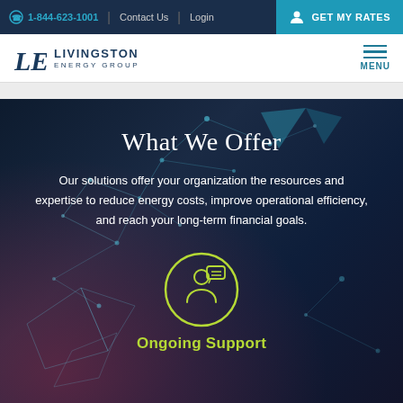1-844-623-1001 | Contact Us | Login | GET MY RATES
[Figure (logo): Livingston Energy Group logo with stylized LE monogram]
What We Offer
Our solutions offer your organization the resources and expertise to reduce energy costs, improve operational efficiency, and reach your long-term financial goals.
[Figure (illustration): Circular icon of a person with a speech bubble, outlined in yellow-green, representing Ongoing Support]
Ongoing Support